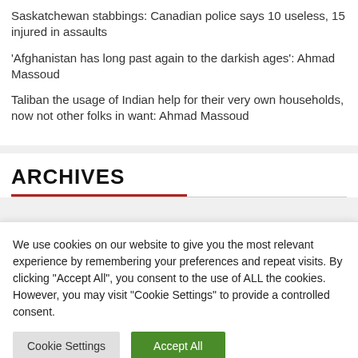Saskatchewan stabbings: Canadian police says 10 useless, 15 injured in assaults
'Afghanistan has long past again to the darkish ages': Ahmad Massoud
Taliban the usage of Indian help for their very own households, now not other folks in want: Ahmad Massoud
ARCHIVES
We use cookies on our website to give you the most relevant experience by remembering your preferences and repeat visits. By clicking "Accept All", you consent to the use of ALL the cookies. However, you may visit "Cookie Settings" to provide a controlled consent.